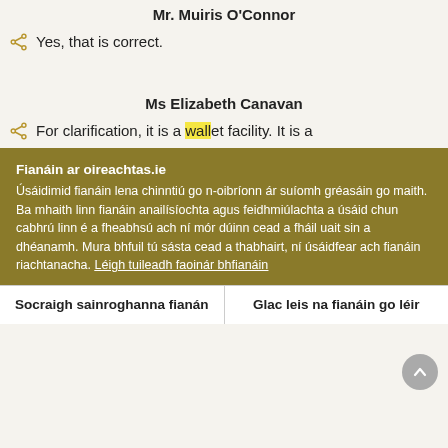Mr. Muiris O'Connor
Yes, that is correct.
Ms Elizabeth Canavan
For clarification, it is a wallet facility. It is a
Fianáin ar oireachtas.ie
Úsáidimid fianáin lena chinntiú go n-oibríonn ár suíomh gréasáin go maith. Ba mhaith linn fianáin anailísíochta agus feidhmiúlachta a úsáid chun cabhrú linn é a fheabhsú ach ní mór dúinn cead a fháil uait sin a dhéanamh. Mura bhfuil tú sásta cead a thabhairt, ní úsáidfear ach fianáin riachtanacha. Léigh tuileadh faoinár bhfianáin
Socraigh sainroghanna fianán
Glac leis na fianáin go léir